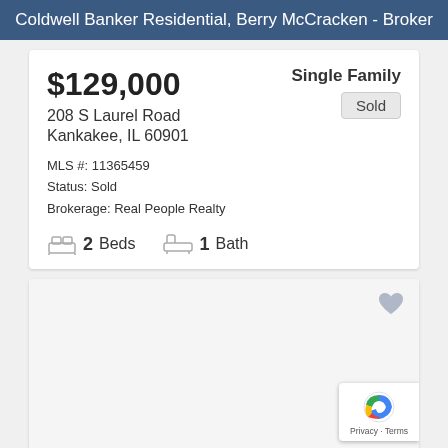Coldwell Banker Residential, Berry McCracken - Broker
$129,000
Single Family
208 S Laurel Road
Sold
Kankakee, IL 60901
MLS #: 11365459
Status: Sold
Brokerage: Real People Realty
2 Beds  1 Bath
[Figure (photo): Property photo placeholder area with heart/favorite icon and reCAPTCHA badge]